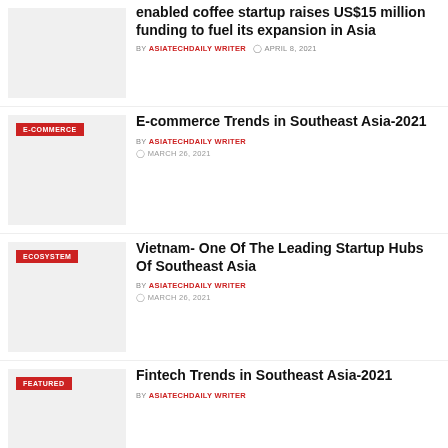[Figure (photo): Thumbnail image for coffee startup article]
enabled coffee startup raises US$15 million funding to fuel its expansion in Asia
BY ASIATECHDAILY WRITER  ⊙ APRIL 8, 2021
[Figure (photo): Thumbnail image for E-commerce article with E-COMMERCE tag]
E-commerce Trends in Southeast Asia-2021
BY ASIATECHDAILY WRITER
⊙ MARCH 26, 2021
[Figure (photo): Thumbnail image for Vietnam article with ECOSYSTEM tag]
Vietnam- One Of The Leading Startup Hubs Of Southeast Asia
BY ASIATECHDAILY WRITER
⊙ MARCH 26, 2021
[Figure (photo): Thumbnail image for Fintech article with FEATURED tag]
Fintech Trends in Southeast Asia-2021
BY ASIATECHDAILY WRITER